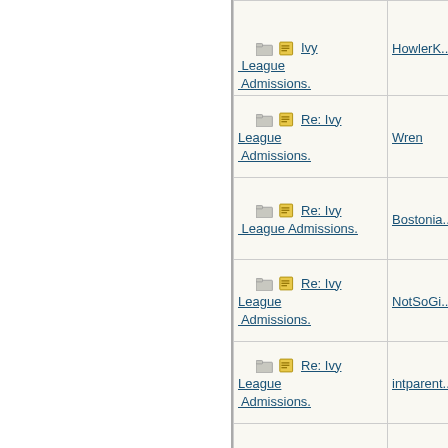| Subject | Author |
| --- | --- |
| Re: Ivy League Admissions. | HowlerK... |
| Re: Ivy League Admissions. | Wren |
| Re: Ivy League Admissions. | Bostonia... |
| Re: Ivy League Admissions. | NotSoGi... |
| Re: Ivy League Admissions. | intparent... |
| Re: Ivy League Admissions. | Zen Sca... |
| Re: Ivy League Admissions. | HowlerK... |
| Re: Ivy League Admissions. | 22B |
| Re: Ivy League Admissions. | Elizabeth... |
| Re: Ivy League Admissions. | HowlerK... |
| Re: Ivy League Admissions. | Elizabeth... |
| Re: Ivy League Admissions. |  |